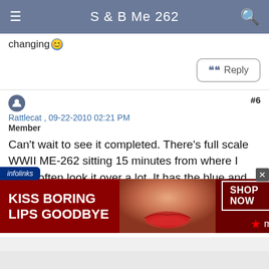S & B Me 262
changing 😊
Reply
Rattlecat , 09-22-2010 02:21 PM
Member
#6
Can't wait to see it completed. There's full scale WWII ME-262 sitting 15 minutes from where I live. I often look it over a lot. It has the blue and grey-green sky cammo paint scheme.
Reply
[Figure (screenshot): Advertisement banner: KISS BORING LIPS GOODBYE - SHOP NOW - Macy's, with woman's lips image]